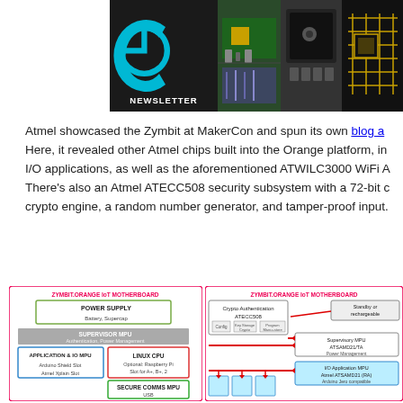[Figure (illustration): Newsletter banner with a stylized 'e' logo in cyan on dark background and the word NEWSLETTER, alongside three product/technology images]
Atmel showcased the Zymbit at MakerCon and spun its own blog a... Here, it revealed other Atmel chips built into the Orange platform, in I/O applications, as well as the aforementioned ATWILC3000 WiFi A... There's also an Atmel ATECC508 security subsystem with a 72-bit c crypto engine, a random number generator, and tamper-proof input...
[Figure (engineering-diagram): ZYMBIT.ORANGE IoT MOTHERBOARD block diagram showing Power Supply (Battery, Supercap), Supervisor MPU (Authentication, Power Management), Linux CPU (Optional Raspberry Pi, Slot for A+, B+, 2), Application & IO MPU (Arduino Shield Slot, Atmel Xplain Slot), and Secure Comms MPU (USB)]
[Figure (engineering-diagram): ZYMBIT.ORANGE IoT MOTHERBOARD detailed block diagram showing Crypto Authentication ATECC508, Supervisory MPU ATSAMD21/TA Power Management, I/O Application MPU Atmel ATSAMD21 (RA) Arduino Jero compatible, with interconnect arrows]